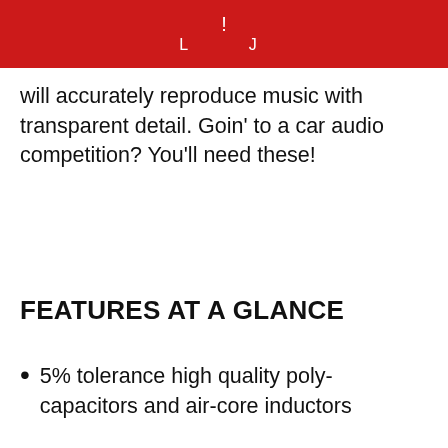[Figure (screenshot): Red header bar with small icon/logo in white]
will accurately reproduce music with transparent detail. Goin' to a car audio competition? You'll need these!
FEATURES AT A GLANCE
5% tolerance high quality poly-capacitors and air-core inductors
Cookie Policy
We use cookies to ensure the best experience. By continuing to use this site, you agree to our Privacy Policy.
ACCEPT
LET ME CHOOSE